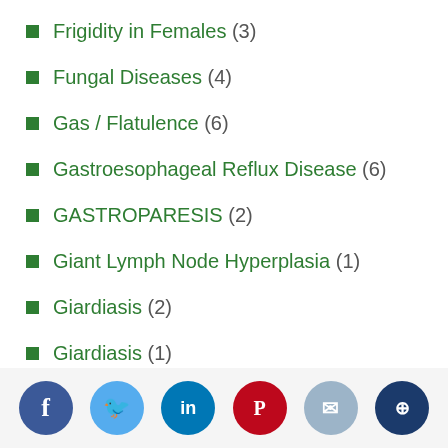Frigidity in Females (3)
Fungal Diseases (4)
Gas / Flatulence (6)
Gastroesophageal Reflux Disease (6)
GASTROPARESIS (2)
Giant Lymph Node Hyperplasia (1)
Giardiasis (2)
Giardiasis (1)
Glanzmann's Thrombasthenia (2)
Glaucoma (3)
Global LV Hypokinesia (1)
Glycogen Storage Disease (2)
GNE MYOPATHY (2)